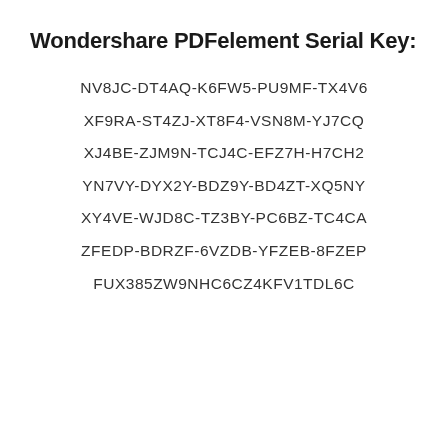Wondershare PDFelement Serial Key:
NV8JC-DT4AQ-K6FW5-PU9MF-TX4V6
XF9RA-ST4ZJ-XT8F4-VSN8M-YJ7CQ
XJ4BE-ZJM9N-TCJ4C-EFZ7H-H7CH2
YN7VY-DYX2Y-BDZ9Y-BD4ZT-XQ5NY
XY4VE-WJD8C-TZ3BY-PC6BZ-TC4CA
ZFEDP-BDRZF-6VZDB-YFZEB-8FZEP
FUX385ZW9NHC6CZ4KFV1TDL6C